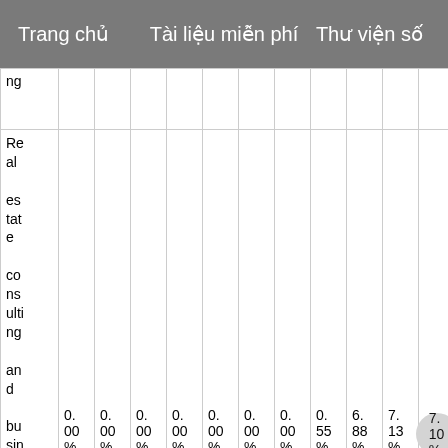Trang chủ    Tài liệu miễn phí    Thư viện số
| ng |  |  |  |  |  |  |  |  |  |  |
| Real estate consulting and busin... | 0.00% | 0.00% | 0.00% | 0.00% | 0.00% | 0.00% | 0.00% | 0.55% | 6.88% | 7.13% | 7.10% |